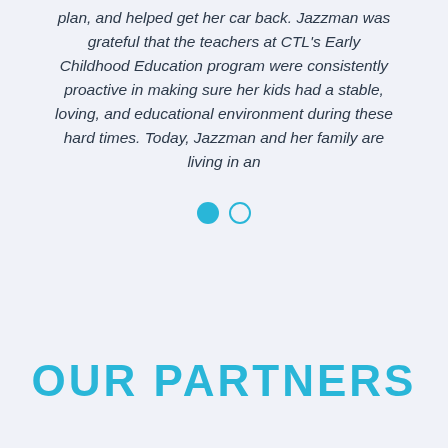plan, and helped get her car back. Jazzman was grateful that the teachers at CTL's Early Childhood Education program were consistently proactive in making sure her kids had a stable, loving, and educational environment during these hard times. Today, Jazzman and her family are living in an
[Figure (other): Two circular pagination dots: one filled teal/cyan, one empty with teal outline]
OUR PARTNERS